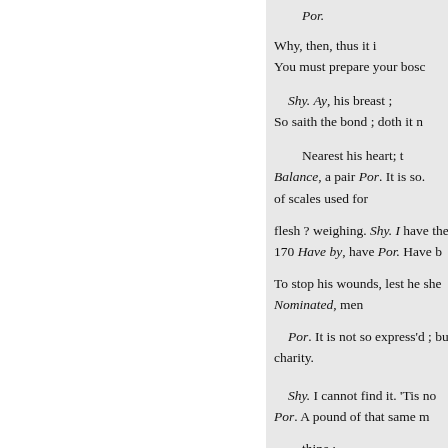Por.

Why, then, thus it i
You must prepare your bosc

Shy. Ay, his breast ;
So saith the bond ; doth it n

Nearest his heart; t
Balance, a pair Por. It is so.
of scales used for

flesh ? weighing. Shy. I have ther
170 Have by, have Por. Have b

To stop his wounds, lest he she
Nominated, men

Por. It is not so express'd ; but
charity.

Shy. I cannot find it. 'Tis no
Por. A pound of that same m

thine ;